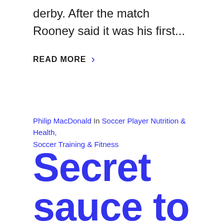derby. After the match Rooney said it was his first...
READ MORE
Philip MacDonald In Soccer Player Nutrition & Health, Soccer Training & Fitness
Secret sauce to faster